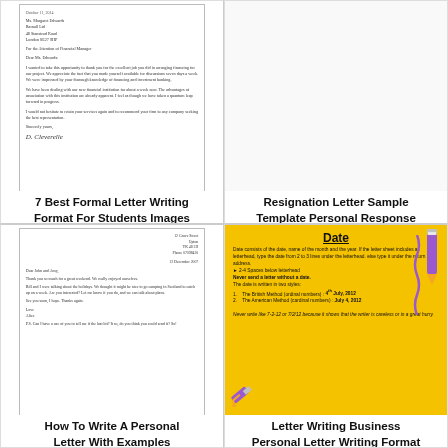[Figure (photo): Scanned image of a formal business letter signed by D. Cleverelle, addressed to Ms. Margaret Edwards at Barnall Ltd]
7 Best Formal Letter Writing Format For Students Images Formal
[Figure (photo): Blank white area representing Resignation Letter Sample Template Personal Response Simple Word]
Resignation Letter Sample Template Personal Response Simple Word
[Figure (photo): Scanned personal letter addressed to John and Amy, signed Love Alice, with a PS note]
How To Write A Personal Letter With Examples
[Figure (infographic): Yellow card explaining letter writing date format, including British method (4th July, 2012) and American method (July 4, 2012), decorated with pencil illustrations]
Letter Writing Business Personal Letter Writing Format